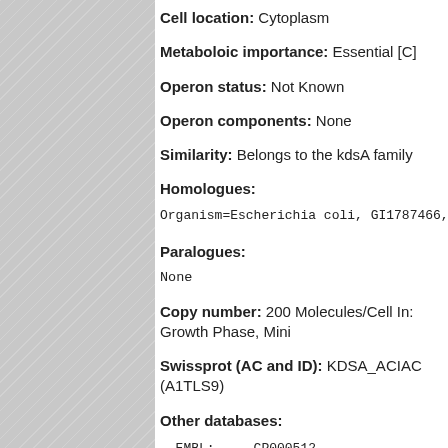Cell location: Cytoplasm
Metaboloic importance: Essential [C]
Operon status: Not Known
Operon components: None
Similarity: Belongs to the kdsA family
Homologues:
Organism=Escherichia coli, GI1787466, Length=2...
Paralogues:
None
Copy number: 200 Molecules/Cell In: Growth Phase, Mini...
Swissprot (AC and ID): KDSA_ACIAC (A1TLS9)
Other databases:
- EMBL:      CP000512